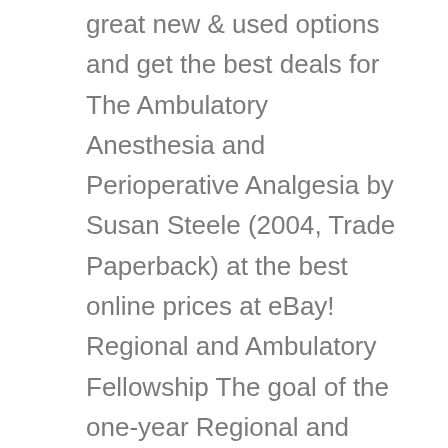great new & used options and get the best deals for The Ambulatory Anesthesia and Perioperative Analgesia by Susan Steele (2004, Trade Paperback) at the best online prices at eBay! Regional and Ambulatory Fellowship The goal of the one-year Regional and Ambulatory Fellowship program is to provide advanced training in regional anesthetic technique and theory, with emphasis on the perioperative management of patients receiving neuraxial or peripheral neural blockade for analgesia and/or anesthesia. The general goal is to provide advanced training in all aspects of regional anesthesia including the use of ultrasound guided techniques and the use of peripheral nerve catheters. The regional education program as a resident was strong, and the educators are passionate about teaching. Ambulatory Anesthesia Fellowship with Emphasis on Regional Anesthesia